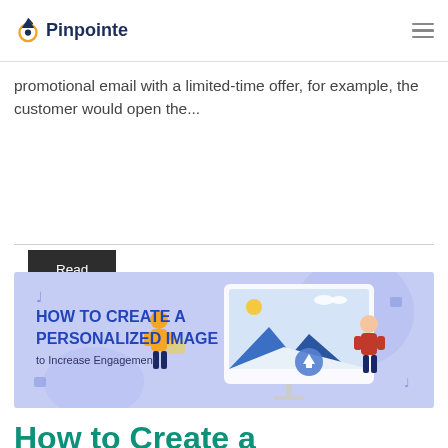Pinpointe
promotional email with a limited-time offer, for example, the customer would open the...
Read More
[Figure (illustration): Banner image with text 'HOW TO CREATE A PERSONALIZED IMAGE to Increase Engagement' with illustrated people and a large monitor showing a landscape image]
How to Create a